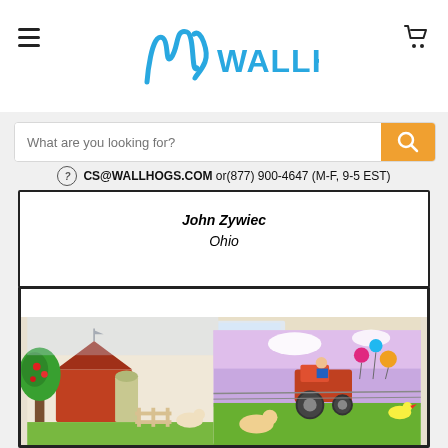[Figure (logo): Wallhogs logo with stylized 'w' in blue and text 'WALLHOGS' in blue, hamburger menu icon on left, shopping cart icon on right]
What are you looking for?
CS@WALLHOGS.COM or(877) 900-4647 (M-F, 9-5 EST)
John Zywiec
Ohio
[Figure (photo): Room with cartoon farm-themed wall murals including a red barn, trees, and a tractor scene on adjacent walls]